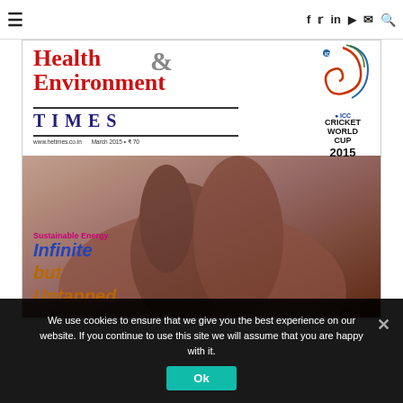≡  f  🐦  in  ▶  ✉  🔍
[Figure (photo): Magazine cover of Health & Environment Times, March 2015, ₹70. Shows hands cupped together with text overlay: 'Sustainable Energy – Infinite but Untapped'. ICC Cricket World Cup 2015 logo in top right.]
We use cookies to ensure that we give you the best experience on our website. If you continue to use this site we will assume that you are happy with it.
Ok